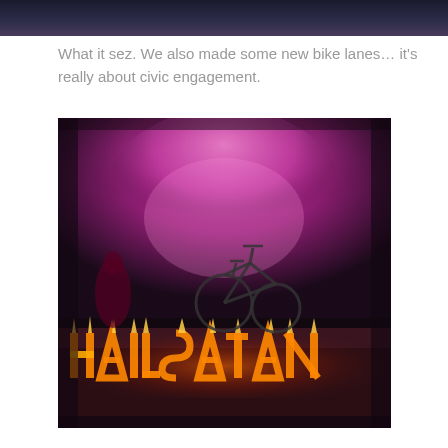[Figure (other): Dark top bar / header strip with dark navy/purple gradient]
What it sez. We also made some new bike lanes… it's really about civic engagement.
[Figure (photo): Night-time photograph with pink/magenta smoke and fire, showing a bicycle raised above the ground and large letters spelling 'HAIL SATAN' made of fire on the ground.]